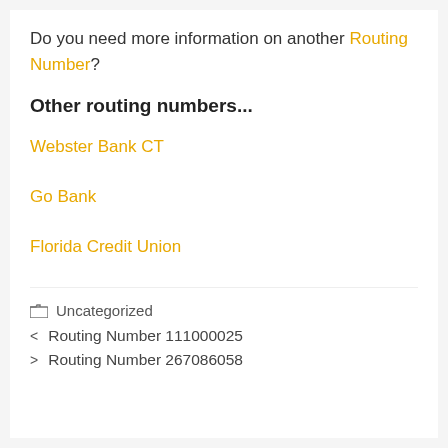Do you need more information on another Routing Number?
Other routing numbers...
Webster Bank CT
Go Bank
Florida Credit Union
Uncategorized
< Routing Number 111000025
> Routing Number 267086058